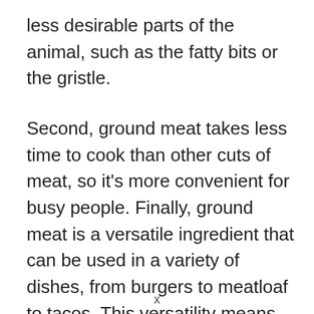less desirable parts of the animal, such as the fatty bits or the gristle.
Second, ground meat takes less time to cook than other cuts of meat, so it's more convenient for busy people. Finally, ground meat is a versatile ingredient that can be used in a variety of dishes, from burgers to meatloaf to tacos. This versatility means that you can get more meals out of a single package of ground meat than you could with a steak or other cut of meat.
x